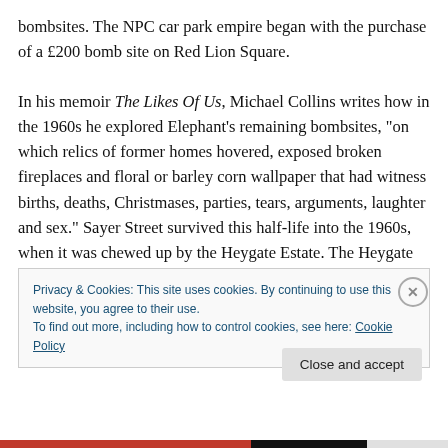bombsites. The NPC car park empire began with the purchase of a £200 bomb site on Red Lion Square.

In his memoir The Likes Of Us, Michael Collins writes how in the 1960s he explored Elephant's remaining bombsites, "on which relics of former homes hovered, exposed broken fireplaces and floral or barley corn wallpaper that had witness births, deaths, Christmases, parties, tears, arguments, laughter and sex." Sayer Street survived this half-life into the 1960s, when it was chewed up by the Heygate Estate. The Heygate was originally conceived as
Privacy & Cookies: This site uses cookies. By continuing to use this website, you agree to their use.
To find out more, including how to control cookies, see here: Cookie Policy
Close and accept